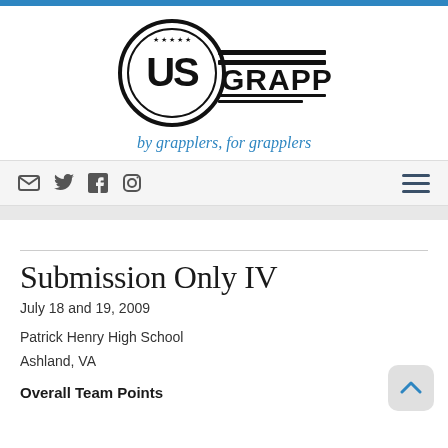[Figure (logo): US Grappling logo — circular emblem with 'US' inside and 'GRAPPLING' text to the right with horizontal stripes]
by grapplers, for grapplers
Navigation bar with email, Twitter, Facebook, Instagram icons and hamburger menu
Submission Only IV
July 18 and 19, 2009
Patrick Henry High School
Ashland, VA
Overall Team Points